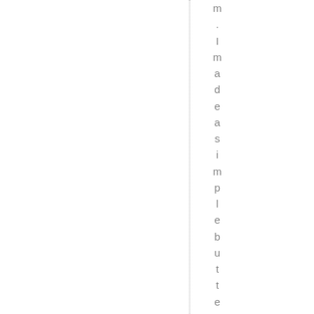m. I made a simple butter cream for th